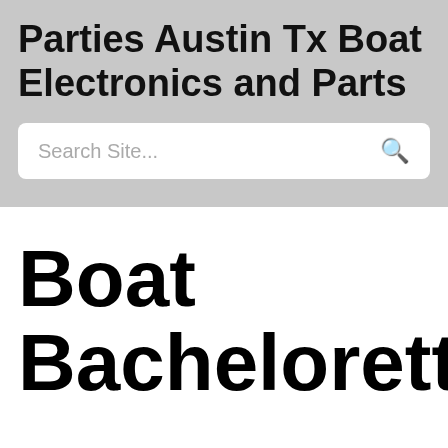Parties Austin Tx Boat Electronics and Parts
Search Site...
Boat Bachelorette